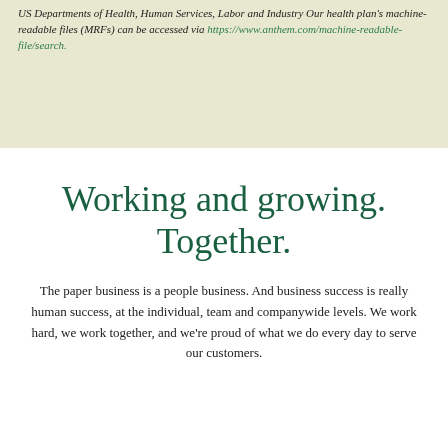US Departments of Health, Human Services, Labor and Treasury. Our health plan's machine-readable files (MRFs) can be accessed via https://www.anthem.com/machine-readable-file/search.
Working and growing. Together.
The paper business is a people business. And business success is really human success, at the individual, team and companywide levels. We work hard, we work together, and we're proud of what we do every day to serve our customers.